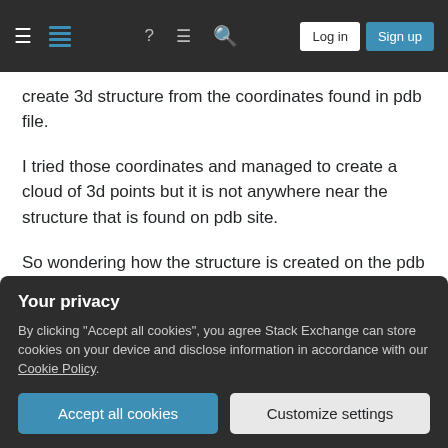Stack Exchange navigation bar with hamburger menu, logo, help, chat, search icons, Log in and Sign up buttons
create 3d structure from the coordinates found in pdb file.
I tried those coordinates and managed to create a cloud of 3d points but it is not anywhere near the structure that is found on pdb site.
So wondering how the structure is created on the pdb website?
pdb
3d-structure
Your privacy
By clicking "Accept all cookies", you agree Stack Exchange can store cookies on your device and disclose information in accordance with our Cookie Policy.
Accept all cookies
Customize settings